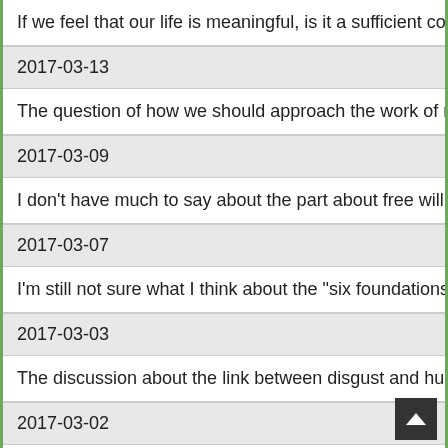If we feel that our life is meaningful, is it a sufficient condition t
2017-03-13
The question of how we should approach the work of movie di
2017-03-09
I don't have much to say about the part about free will: as I've s
2017-03-07
I'm still not sure what I think about the "six foundations" of mo
2017-03-03
The discussion about the link between disgust and humor, and
2017-03-02
"We are only homo sapiens more or less by accident and we're
2017-03-01